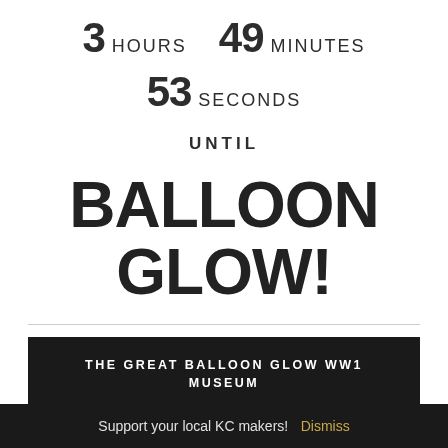3 HOURS   49 MINUTES
53 SECONDS
UNTIL
BALLOON GLOW!
THE GREAT BALLOON GLOW WW1 MUSEUM
[Figure (logo): Kansas City's logo in dark navy serif font]
Support your local KC makers!  Dismiss